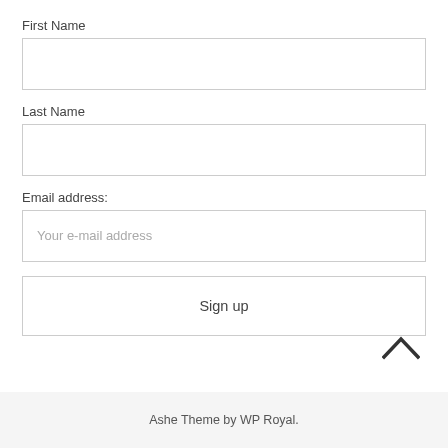First Name
[Figure (screenshot): Empty text input field for First Name]
Last Name
[Figure (screenshot): Empty text input field for Last Name]
Email address:
[Figure (screenshot): Text input field for email address with placeholder text 'Your e-mail address']
[Figure (screenshot): Sign up button]
[Figure (other): Chevron/up arrow icon]
Ashe Theme by WP Royal.